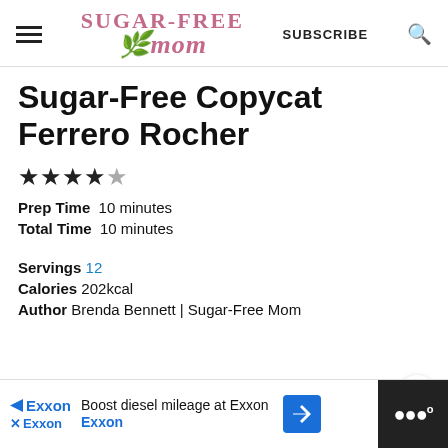Sugar-Free Mom | SUBSCRIBE
Sugar-Free Copycat Ferrero Rocher
★★★★☆
Prep Time 10 minutes
Total Time 10 minutes
Servings 12
Calories 202kcal
Author Brenda Bennett | Sugar-Free Mom
[Figure (screenshot): Advertisement showing 'DON'T TEXT' in large yellow text on black background]
[Figure (screenshot): Bottom banner ad: Exxon - Boost diesel mileage at Exxon]